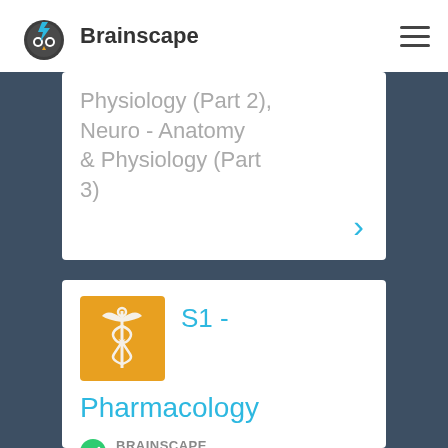Brainscape
Physiology (Part 2), Neuro - Anatomy & Physiology (Part 3)
S1 - Pharmacology
BRAINSCAPE CERTIFIED CLASS
442 Cards –
5 Decks –
38,379 Learners